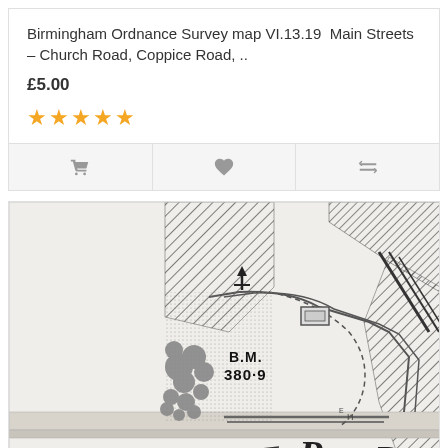Birmingham Ordnance Survey map VI.13.19  Main Streets – Church Road, Coppice Road, ..
£5.00
★★★★★
[Figure (map): Detail of a Birmingham Ordnance Survey map showing streets, a benchmark (B.M. 380.9), tree symbols, hatched areas, dashed boundaries, and letters P, R, H, LP.]
Birmingham Ordnance Survey map VI.13.1A - Download